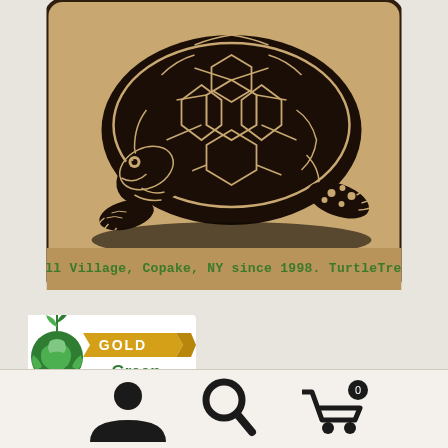[Figure (illustration): Woodcut-style illustration of a tortoise on a kraft/cardboard colored background with rounded corners and dark border. Text at bottom reads: In Camphill Village, Copake, NY since 1998. TurtleTreeSeed.org]
In Camphill Village, Copake, NY since 1998. TurtleTreeSeed.org
[Figure (logo): Green America Gold Certified badge/logo with green and gold colors, showing a globe with plant, text GOLD on gold banner, Green America in green text, CERTIFIED on green bar at bottom]
[Figure (screenshot): Mobile app navigation bar with three icons: person/account icon on left, search magnifying glass in center, shopping cart with badge on right]